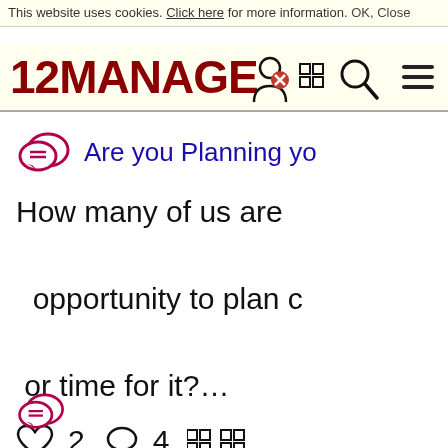This website uses cookies. Click here for more information. OK, Close
[Figure (logo): 12MANAGE logo in dark red bold text with hamburger menu icon on the right]
Are you Planning yo...
How many of us are... opportunity to plan c... or time for it?...
♡ 2   ○ 4 □□ □□